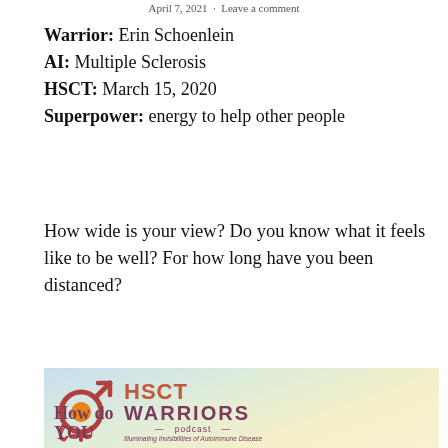April 7, 2021 · Leave a comment
Warrior: Erin Schoenlein
AI: Multiple Sclerosis
HSCT: March 15, 2020
Superpower: energy to help other people
How wide is your view? Do you know what it feels like to be well? For how long have you been distanced?
[Figure (logo): HSCT Warriors Podcast logo with circular gender symbol in dark red/brown with orange center, text 'HSCT WARRIORS podcast — Illuminating Invisibilities of Autoimmune Disease', and partial text 'How do YOU' in dark red at bottom]